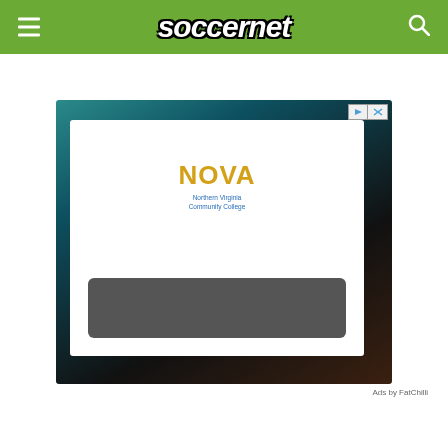soccernet
[Figure (screenshot): Advertisement banner featuring NOVA (Northern Virginia Community College) logo on a white card set against a dark teal/black gradient background, with a dark rounded rectangle bar at the bottom of the white card. Ad controls (play/close buttons) visible in top right corner.]
Ads by FatChilli